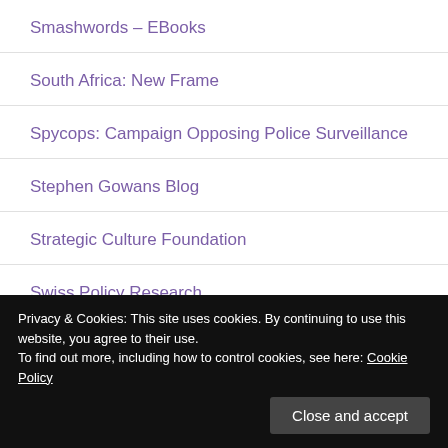Smashwords – EBooks
South Africa: New Frame
Spycops: Campaign Opposing Police Surveillance
Stephen Gowans Blog
Strategic Culture Foundation
Swiss Policy Research
The Alternative World
Privacy & Cookies: This site uses cookies. By continuing to use this website, you agree to their use.
To find out more, including how to control cookies, see here: Cookie Policy
Close and accept